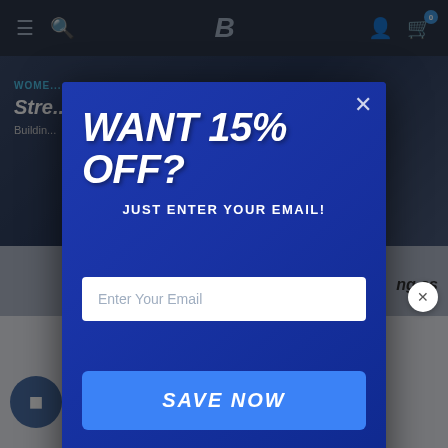Bodybuilding.com navigation bar with hamburger menu, search, logo B, account icon, cart icon with badge 0
WOMEN'S
Stre...
Buildin...
ng as
[Figure (screenshot): Popup modal over a fitness website. Modal shows 'WANT 15% OFF?' headline, 'JUST ENTER YOUR EMAIL!' subheadline, email input field, and SAVE NOW button. Background shows fitness/weightlifting imagery.]
Report an ad
Training Around t...
Menstrual Cycle